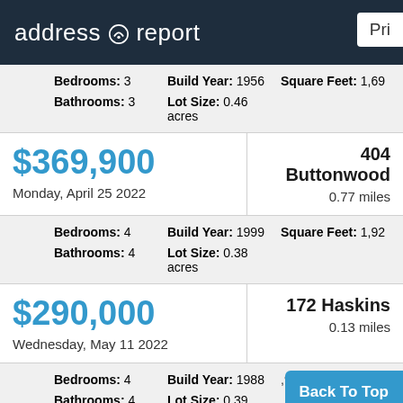address report | Pri
Bedrooms: 3   Build Year: 1956   Square Feet: 1,69
Bathrooms: 3   Lot Size: 0.46 acres
$369,900
Monday, April 25 2022
404 Buttonwood
0.77 miles
Bedrooms: 4   Build Year: 1999   Square Feet: 1,92
Bathrooms: 4   Lot Size: 0.38 acres
$290,000
Wednesday, May 11 2022
172 Haskins
0.13 miles
Bedrooms: 4   Build Year: 1988   Square Feet: 1,92
Bathrooms: 4   Lot Size: 0.39 acres
Back To Top